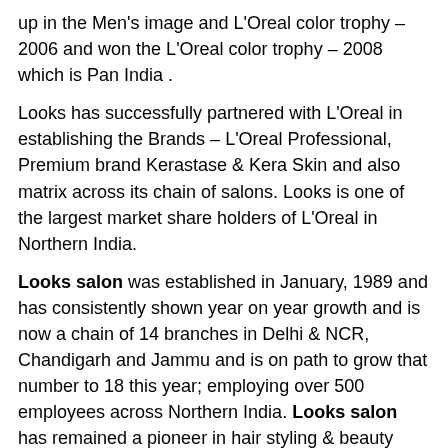up in the Men's image and L'Oreal color trophy – 2006 and won the L'Oreal color trophy – 2008 which is Pan India .
Looks has successfully partnered with L'Oreal in establishing the Brands – L'Oreal Professional, Premium brand Kerastase & Kera Skin and also matrix across its chain of salons. Looks is one of the largest market share holders of L'Oreal in Northern India.
Looks salon was established in January, 1989 and has consistently shown year on year growth and is now a chain of 14 branches in Delhi & NCR, Chandigarh and Jammu and is on path to grow that number to 18 this year; employing over 500 employees across Northern India. Looks salon has remained a pioneer in hair styling & beauty care, exceeding all industry standards to give professional hairstyling the global platform.
Looks Salon Services :
Hair Care : shampoo, conditioning, blow dry, re-bonding, perming, straightening, root touch up, global hair, colour, streaking, hair spa, hair cut